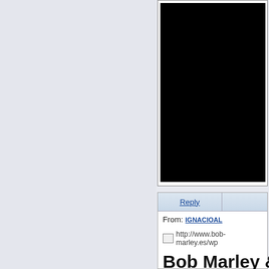[Figure (screenshot): Black video player embedded in a white/gray bordered box, cropped on the right side of the page]
[Figure (screenshot): Reply section with a 'Reply' button tab, a 'From: IGNACIOAL' line, a broken image link to http://www.bob-marley.es/wp... and large bold text 'Bob Marley']